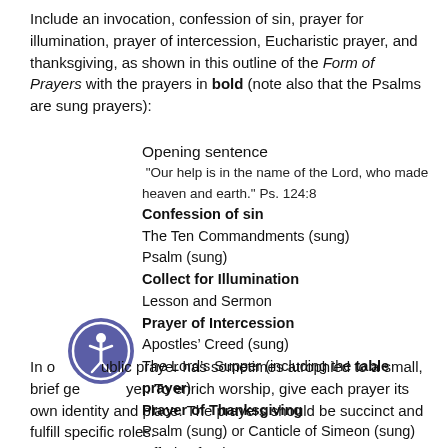Include an invocation, confession of sin, prayer for illumination, prayer of intercession, Eucharistic prayer, and thanksgiving, as shown in this outline of the Form of Prayers with the prayers in bold (note also that the Psalms are sung prayers):
Opening sentence
“Our help is in the name of the Lord, who made heaven and earth.” Ps. 124:8
Confession of sin
The Ten Commandments (sung)
Psalm (sung)
Collect for Illumination
Lesson and Sermon
Prayer of Intercession
Apostles’ Creed (sung)
The Lord’s Supper (including the table prayer)
Prayer of Thanksgiving
Psalm (sung) or Canticle of Simeon (sung)
Offering for the poor
Blessing
In our day public prayer has sometimes atrophied to a small, brief general prayer. To enrich worship, give each prayer its own identity and place. The prayers should be succinct and fulfill specific roles.